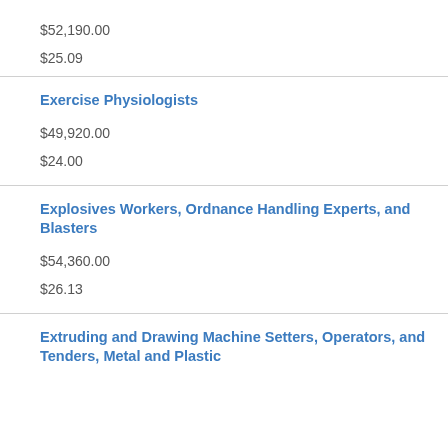$52,190.00
$25.09
Exercise Physiologists
$49,920.00
$24.00
Explosives Workers, Ordnance Handling Experts, and Blasters
$54,360.00
$26.13
Extruding and Drawing Machine Setters, Operators, and Tenders, Metal and Plastic